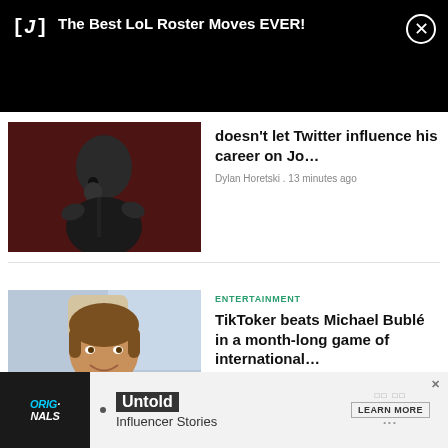[Figure (screenshot): Notification bar showing: [J] icon, 'The Best LoL Roster Moves EVER!' text, and X close button on black background]
[Figure (photo): Man speaking into a microphone in a podcast setting with red curtain background]
doesn't let Twitter influence his career on Jo…
Dylan Horetski . 13 minutes ago
ENTERTAINMENT
[Figure (photo): Man in a car smiling, wearing a black shirt with a seatbelt]
TikToker beats Michael Bublé in a month-long game of international…
Alec Mullins . 37 minutes ago
[Figure (screenshot): Advertisement banner for Untold Influencer Stories with ORIGINALS logo, Untold text, and LEARN MORE button]